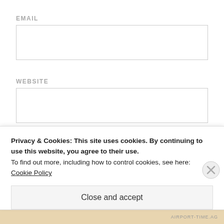EMAIL
WEBSITE
Post Comment
Privacy & Cookies: This site uses cookies. By continuing to use this website, you agree to their use.
To find out more, including how to control cookies, see here: Cookie Policy
Close and accept
AIRPORT-TIME.AG